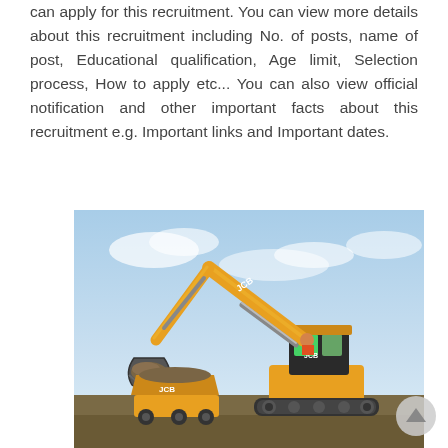can apply for this recruitment. You can view more details about this recruitment including No. of posts, name of post, Educational qualification, Age limit, Selection process, How to apply etc... You can also view official notification and other important facts about this recruitment e.g. Important links and Important dates.
[Figure (photo): A JCB excavator with its arm extended, lifting a bucket of earth/gravel, loading into a JCB dumper truck. The machinery is yellow/orange branded JCB. The background shows a blue sky with light clouds.]